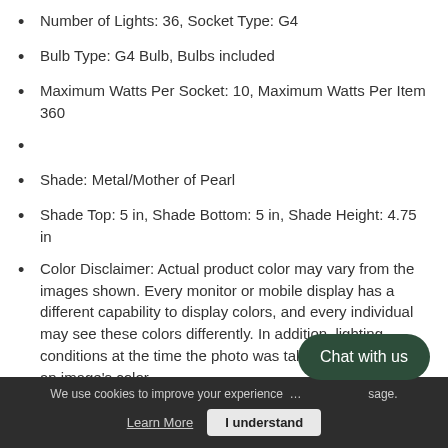Number of Lights: 36, Socket Type: G4
Bulb Type: G4 Bulb, Bulbs included
Maximum Watts Per Socket: 10, Maximum Watts Per Item 360
Shade: Metal/Mother of Pearl
Shade Top: 5 in, Shade Bottom: 5 in, Shade Height: 4.75 in
Color Disclaimer: Actual product color may vary from the images shown. Every monitor or mobile display has a different capability to display colors, and every individual may see these colors differently. In addition, lighting conditions at the time the photo was taken can also affect an image's color.
Shop Currey Lighting, Chandeliers, Outdoor Furniture, Mirrors, Vanities & More. Find Currey and Compar...
We use cookies to improve your experience ... sage.
Chat with us